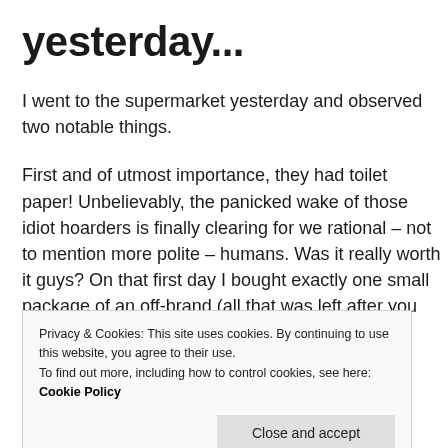yesterday...
I went to the supermarket yesterday and observed two notable things.
First and of utmost importance, they had toilet paper! Unbelievably, the panicked wake of those idiot hoarders is finally clearing for we rational – not to mention more polite – humans. Was it really worth it guys? On that first day I bought exactly one small package of an off-brand (all that was left after you hogged up all the big mega packs) of
Privacy & Cookies: This site uses cookies. By continuing to use this website, you agree to their use. To find out more, including how to control cookies, see here: Cookie Policy
Close and accept